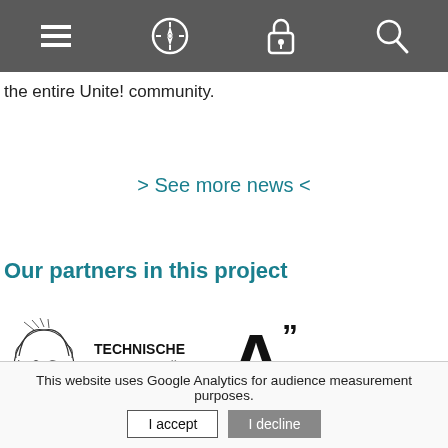[Navigation bar with hamburger menu, compass, lock, and search icons]
the entire Unite! community.
> See more news <
Our partners in this project
[Figure (logo): Technische Universität Darmstadt logo with Minerva head illustration and bold text: TECHNISCHE UNIVERSITÄT DARMSTADT]
[Figure (logo): Aalto University logo: large bold A with quotation mark superscript and text 'Aalto University' below]
This website uses Google Analytics for audience measurement purposes.
I accept
I decline